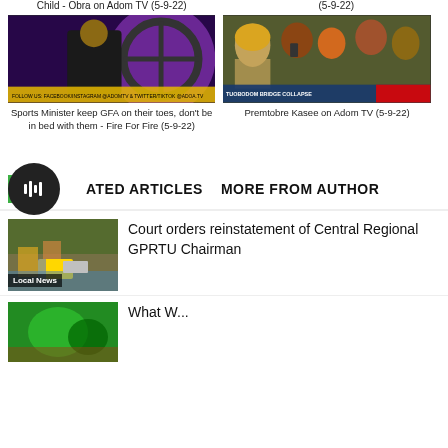Child - Obra on Adom TV (5-9-22)
(5-9-22)
[Figure (screenshot): TV screenshot showing sports presenter in black outfit against purple background with football graphic]
[Figure (screenshot): TV screenshot showing crowd of people outdoors with TUOBODOM BRIDGE COLLAPSE chyron]
Sports Minister keep GFA on their toes, don't be in bed with them - Fire For Fire (5-9-22)
Premtobre Kasee on Adom TV (5-9-22)
RELATED ARTICLES
MORE FROM AUTHOR
Court orders reinstatement of Central Regional GPRTU Chairman
Local News
What W...